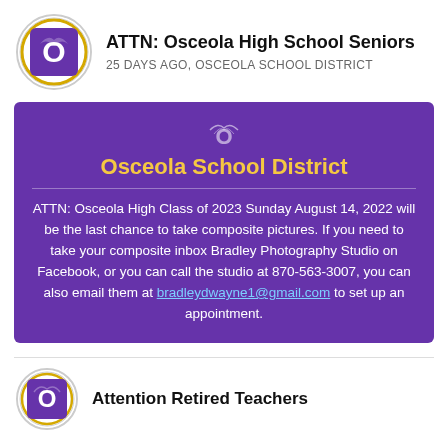ATTN: Osceola High School Seniors
25 DAYS AGO, OSCEOLA SCHOOL DISTRICT
[Figure (infographic): Purple card with Osceola School District logo (white bird/O emblem), district name in gold, horizontal divider, and announcement text about composite pictures for the Class of 2023 on Sunday August 14, 2022, with contact info for Bradley Photography Studio including phone 870-563-3007 and email bradleydwayne1@gmail.com]
Attention Retired Teachers